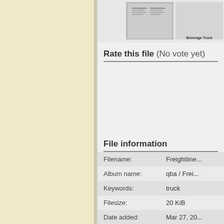[Figure (screenshot): Thumbnail images of a document page showing freight/truck content, with label 'Beverage Truck']
Rate this file (No vote yet)
File information
| Field | Value |
| --- | --- |
| Filename: | Freightline... |
| Album name: | qba / Frei... |
| Keywords: | truck |
| Filesize: | 20 KiB |
| Date added: | Mar 27, 20... |
| Dimensions: | 336 x 441 |
| Displayed: | 138 times |
| URL: | http://www... |
| Favourites: | Add to Fa... |